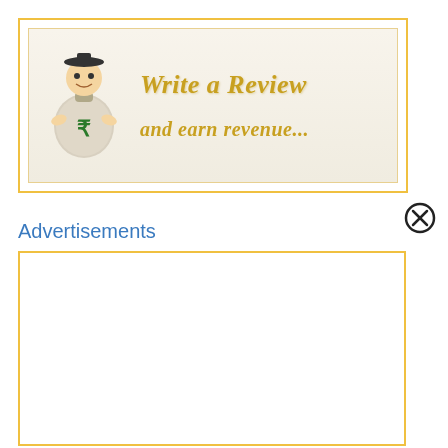[Figure (illustration): Promotional banner with a cartoon money bag character holding Indian rupee symbol, with text 'Write a Review and earn revenue...' in gold italic font on a cream background, surrounded by yellow border.]
[Figure (other): Close/dismiss button (circled X icon) in the top right area.]
Advertisements
[Figure (other): Empty advertisement box with yellow border, placeholder for ad content.]